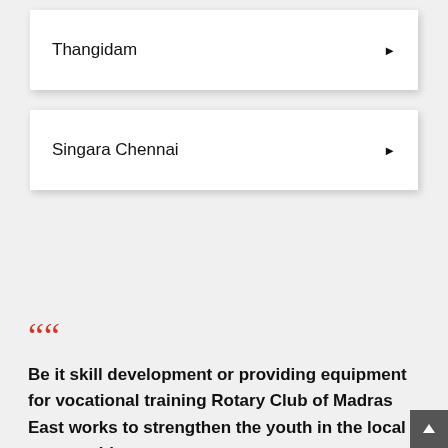Thangidam
Singara Chennai
““ Be it skill development or providing equipment for vocational training Rotary Club of Madras East works to strengthen the youth in the local communities, so